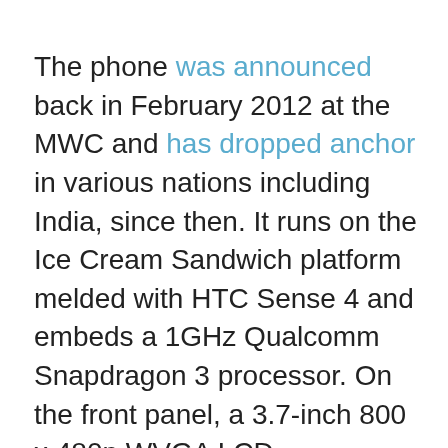The phone was announced back in February 2012 at the MWC and has dropped anchor in various nations including India, since then. It runs on the Ice Cream Sandwich platform melded with HTC Sense 4 and embeds a 1GHz Qualcomm Snapdragon 3 processor. On the front panel, a 3.7-inch 800 x 480p WVGA LCD touchscreen shares space with three tactile buttons lined along its base.